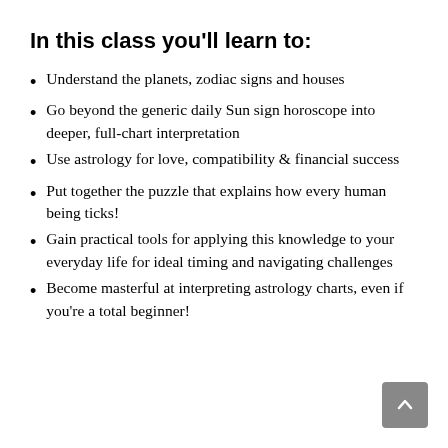In this class you'll learn to:
Understand the planets, zodiac signs and houses
Go beyond the generic daily Sun sign horoscope into deeper, full-chart interpretation
Use astrology for love, compatibility & financial success
Put together the puzzle that explains how every human being ticks!
Gain practical tools for applying this knowledge to your everyday life for ideal timing and navigating challenges
Become masterful at interpreting astrology charts, even if you're a total beginner!